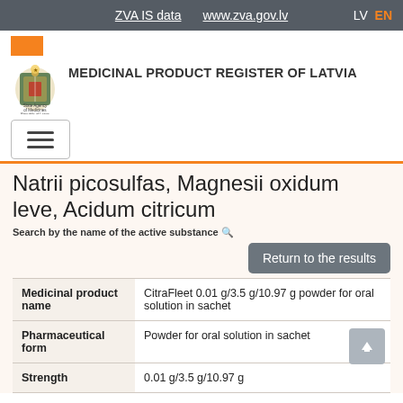ZVA IS data  www.zva.gov.lv  LV  EN
[Figure (logo): State Agency of Medicines Republic of Latvia coat of arms logo with text MEDICINAL PRODUCT REGISTER OF LATVIA]
Natrii picosulfas, Magnesii oxidum leve, Acidum citricum
Search by the name of the active substance
Return to the results
| Field | Value |
| --- | --- |
| Medicinal product name | CitraFleet 0.01 g/3.5 g/10.97 g powder for oral solution in sachet |
| Pharmaceutical form | Powder for oral solution in sachet |
| Strength | 0.01 g/3.5 g/10.97 g |